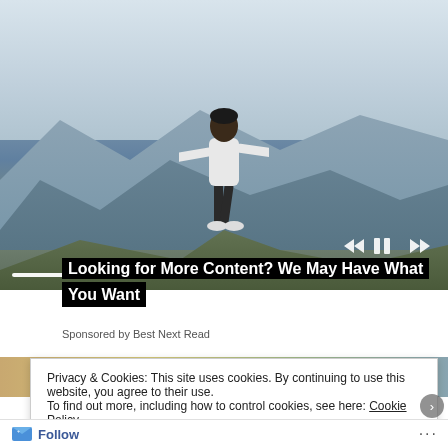[Figure (photo): Person standing on a mountain hilltop with arms outstretched wide, wearing a white shirt and dark pants, seen from behind. Mountain range and valley with a city visible in the background under a hazy sky. Slideshow playback controls (skip back, pause, skip forward) in bottom right, and a progress indicator bar at the bottom.]
Looking for More Content? We May Have What You Want
Sponsored by Best Next Read
[Figure (photo): Partially visible second image or thumbnail strip beneath the ad.]
Privacy & Cookies: This site uses cookies. By continuing to use this website, you agree to their use.
To find out more, including how to control cookies, see here: Cookie Policy
Close and accept
Follow